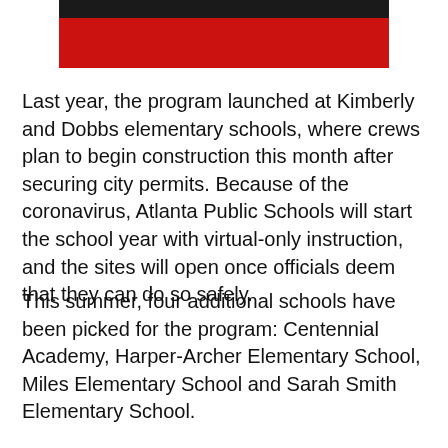[Figure (photo): Top portion of an image showing a dark bar and a red bar, likely a cropped school or news photo]
Last year, the program launched at Kimberly and Dobbs elementary schools, where crews plan to begin construction this month after securing city permits. Because of the coronavirus, Atlanta Public Schools will start the school year with virtual-only instruction, and the sites will open once officials deem that they can do so safely.
This summer, four additional schools have been picked for the program: Centennial Academy, Harper-Archer Elementary School, Miles Elementary School and Sarah Smith Elementary School.